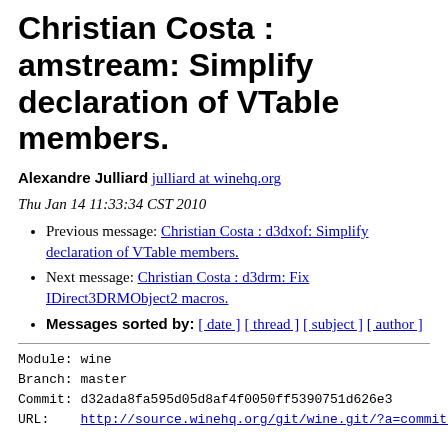Christian Costa : amstream: Simplify declaration of VTable members.
Alexandre Julliard julliard at winehq.org
Thu Jan 14 11:33:34 CST 2010
Previous message: Christian Costa : d3dxof: Simplify declaration of VTable members.
Next message: Christian Costa : d3drm: Fix IDirect3DRMObject2 macros.
Messages sorted by: [ date ] [ thread ] [ subject ] [ author ]
Module: wine
Branch: master
Commit: d32ada8fa595d05d8af4f0050ff5390751d626e3
URL:    http://source.winehq.org/git/wine.git/?a=commit;h

Author: Christian Costa <titan.costa at wanadoo.fr>
Date:   Tue Jan 12 09:55:36 2010 +0100

amstream: Simplify declaration of VTable members.